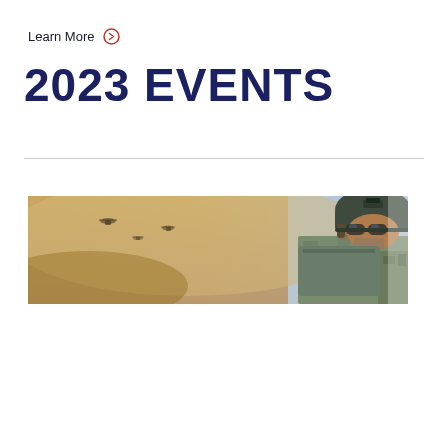Learn More →
2023 EVENTS
[Figure (photo): A military soldier wearing a helmet and tactical gear, photographed against a dusty, hazy desert background with helicopters visible in the distance.]